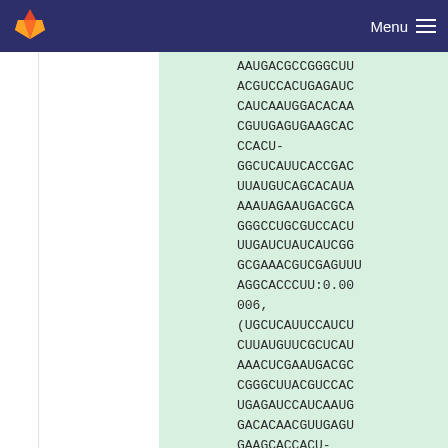Menu
AAUGACGCCGGGCUUACGUCCACUGAGAUCCAUCAAUGGACACAACGUUGAGUGAAGCACCCACU-GGCUCAUUCACCGACUUAUGUCAGCACAUAAAAUAGAAUGACGCAGGGCCUGCGUCCACUUUGAUCUAUCAUCGGGCGAAACGUCGAGUUAGGCACCCUU:0.00006,(UGCUCAUUCCAUCUCUCUUAUGUUCGCUCAUAAACUCGAAUGACGCCGGGCUUACGUCCACUGAGAUCCAUCAAUGGACACAACGUUGAGUGAAGCACCACU-